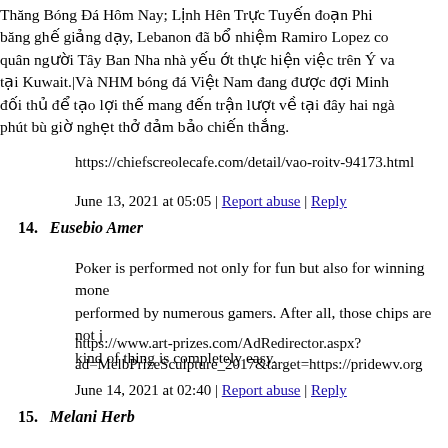Thăng Bóng Đá Hôm Nay; Lịnh Hên Trực Tuyến đoạn Phi... băng ghế giảng dạy, Lebanon đã bổ nhiệm Ramiro Lopez co... quân người Tây Ban Nha nhà yếu ớt thực hiện việc trên Ý va... tại Kuwait.|Và NHM bóng đá Việt Nam đang được đợi Minh... đối thủ để tạo lợi thế mang đến trận lượt về tại đây hai ngà... phút bù giờ nghẹt thở đảm bảo chiến thắng.
https://chiefscreolecafe.com/detail/vao-roitv-94173.html
June 13, 2021 at 05:05 | Report abuse | Reply
Eusebio Amer
Poker is performed not only for fun but also for winning mone... performed by numerous gamers. After all, those chips are not j... kind of thing is completely easy.
https://www.art-prizes.com/AdRedirector.aspx?ad=MelbPrizeSculpture_2017&target=https://pridewv.org
June 14, 2021 at 02:40 | Report abuse | Reply
Melani Herb
It follows that they must continue to become better than what t... and touching will make the people much more comfortable, an...
http://1wyndham.com/__media__/js/netsoltrademark.php?d=p...